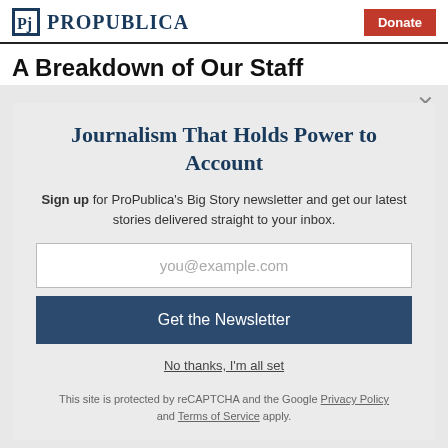ProPublica | Donate
A Breakdown of Our Staff
Journalism That Holds Power to Account
Sign up for ProPublica's Big Story newsletter and get our latest stories delivered straight to your inbox.
you@example.com
Get the Newsletter
No thanks, I'm all set
This site is protected by reCAPTCHA and the Google Privacy Policy and Terms of Service apply.